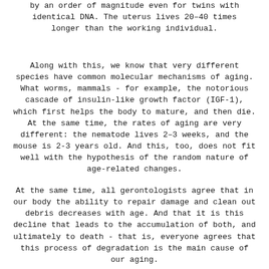by an order of magnitude even for twins with identical DNA. The uterus lives 20–40 times longer than the working individual.
Along with this, we know that very different species have common molecular mechanisms of aging. What worms, mammals - for example, the notorious cascade of insulin-like growth factor (IGF-1), which first helps the body to mature, and then die. At the same time, the rates of aging are very different: the nematode lives 2–3 weeks, and the mouse is 2-3 years old. And this, too, does not fit well with the hypothesis of the random nature of age-related changes.
At the same time, all gerontologists agree that in our body the ability to repair damage and clean out debris decreases with age. And that it is this decline that leads to the accumulation of both, and ultimately to death - that is, everyone agrees that this process of degradation is the main cause of our aging.